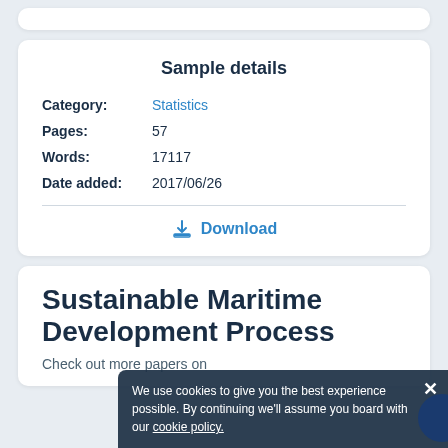Sample details
Category: Statistics
Pages: 57
Words: 17117
Date added: 2017/06/26
Download
Sustainable Maritime Development Process
Check out more papers on
We use cookies to give you the best experience possible. By continuing we'll assume you board with our cookie policy.